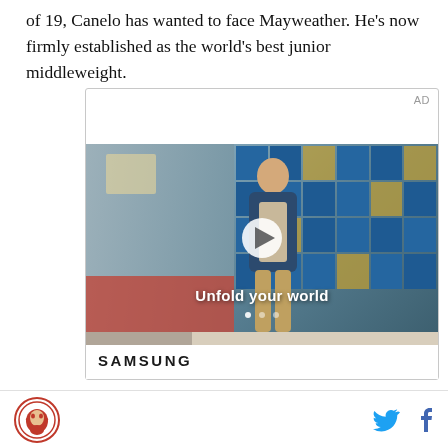of 19, Canelo has wanted to face Mayweather. He's now firmly established as the world's best junior middleweight.
[Figure (screenshot): Advertisement for Samsung featuring a video player with a young man in a diner setting with blue grid windows in the background. Text overlay reads 'Unfold your world' with a play button. Samsung logo shown at bottom.]
Site logo and social media icons (Twitter/X and Facebook)